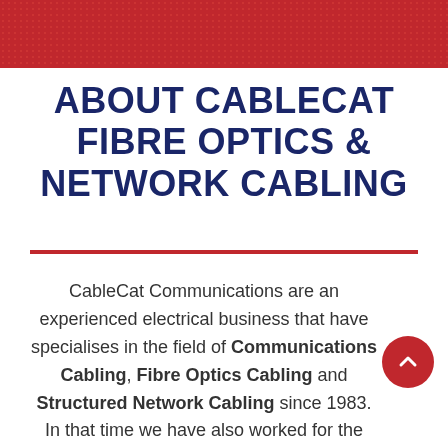ABOUT CABLECAT FIBRE OPTICS & NETWORK CABLING
CableCat Communications are an experienced electrical business that have specialises in the field of Communications Cabling, Fibre Optics Cabling and Structured Network Cabling since 1983. In that time we have also worked for the Australian Communications